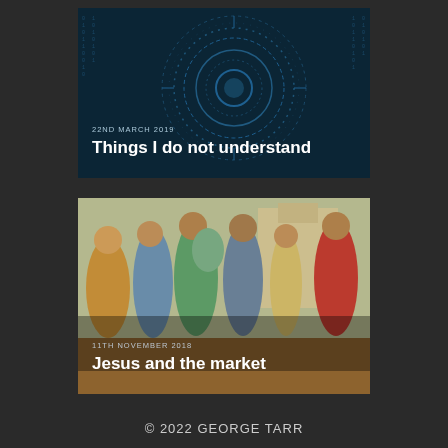[Figure (illustration): Dark blue tech/digital circular HUD background with binary numbers around the edges]
22ND MARCH 2019
Things I do not understand
[Figure (illustration): Painting of ancient marketplace scene with robed figures, Jesus and the money changers at the temple]
11TH NOVEMBER 2018
Jesus and the market
© 2022 GEORGE TARR